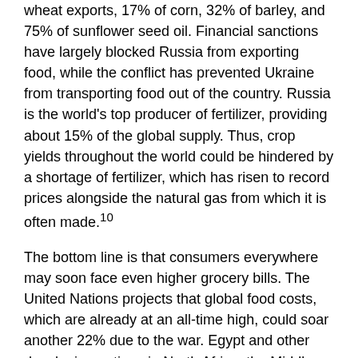wheat exports, 17% of corn, 32% of barley, and 75% of sunflower seed oil. Financial sanctions have largely blocked Russia from exporting food, while the conflict has prevented Ukraine from transporting food out of the country. Russia is the world's top producer of fertilizer, providing about 15% of the global supply. Thus, crop yields throughout the world could be hindered by a shortage of fertilizer, which has risen to record prices alongside the natural gas from which it is often made.[10]
The bottom line is that consumers everywhere may soon face even higher grocery bills. The United Nations projects that global food costs, which are already at an all-time high, could soar another 22% due to the war. Egypt and other developing nations in North Africa, the Middle East, and Asia are especially dependent on grains from Russia and Ukraine. Disrupted food supplies and elevated prices are expected to cause a notable increase in world hunger.[11]
Ripple Effects